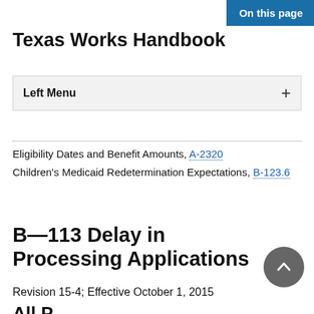On this page
Texas Works Handbook
Left Menu
Eligibility Dates and Benefit Amounts, A-2320
Children's Medicaid Redetermination Expectations, B-123.6
B—113 Delay in Processing Applications
Revision 15-4; Effective October 1, 2015
All P...